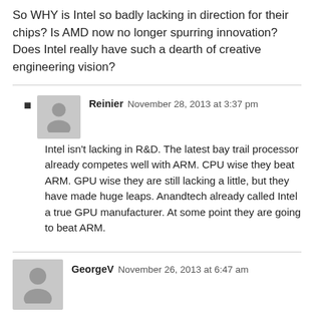So WHY is Intel so badly lacking in direction for their chips? Is AMD now no longer spurring innovation? Does Intel really have such a dearth of creative engineering vision?
Reinier  November 28, 2013 at 3:37 pm
Intel isn't lacking in R&D. The latest bay trail processor already competes well with ARM. CPU wise they beat ARM. GPU wise they are still lacking a little, but they have made huge leaps. Anandtech already called Intel a true GPU manufacturer. At some point they are going to beat ARM.
GeorgeV  November 26, 2013 at 6:47 am
Intel to offer the cheaper version? That would be the day. What's likely is theirs will be more expensive because they'll think they are ahead in process node technology. Also, I wouldn't expect Nvidia or